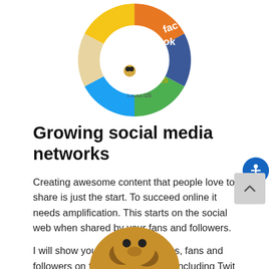[Figure (illustration): A circular disc/wheel composed of various social media brand logos including Facebook, HootSuite, del.icio.us, RSS, and others arranged in a colorful collage circle with a white center hole.]
Growing social media networks
Creating awesome content that people love to share is just the start. To succeed online it needs amplification. This starts on the social web when shared by your fans and followers.
I will show you how to build tribes, fans and followers on the social networks including Twit Facebook, Google+ and LinkedIn.
[Figure (photo): Partial view of what appears to be a dog or animal face at the bottom of the page, partially cropped.]